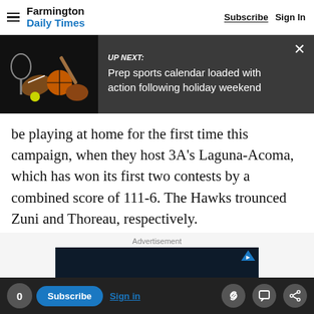Farmington Daily Times  Subscribe  Sign In
[Figure (screenshot): UP NEXT banner with sports equipment image on dark background. Text reads: 'UP NEXT: Prep sports calendar loaded with action following holiday weekend']
be playing at home for the first time this campaign, when they host 3A's Laguna-Acoma, which has won its first two contests by a combined score of 111-6. The Hawks trounced Zuni and Thoreau, respectively.
Advertisement
[Figure (screenshot): Dark blue advertisement box]
0  Subscribe  Sign in